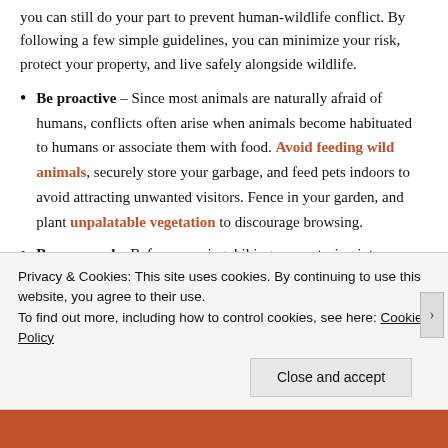you can still do your part to prevent human-wildlife conflict. By following a few simple guidelines, you can minimize your risk, protect your property, and live safely alongside wildlife.
Be proactive – Since most animals are naturally afraid of humans, conflicts often arise when animals become habituated to humans or associate them with food. Avoid feeding wild animals, securely store your garbage, and feed pets indoors to avoid attracting unwanted visitors. Fence in your garden, and plant unpalatable vegetation to discourage browsing.
Be prepared – Before camping, hiking, or venturing into
Privacy & Cookies: This site uses cookies. By continuing to use this website, you agree to their use.
To find out more, including how to control cookies, see here: Cookie Policy
Close and accept